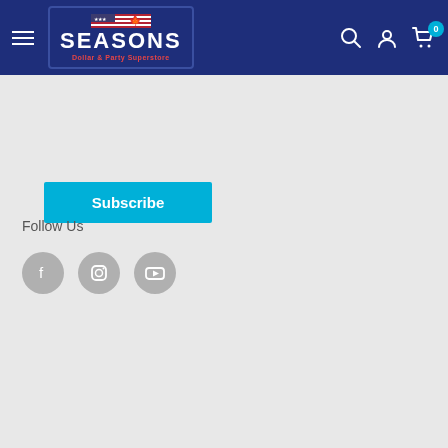[Figure (screenshot): Seasons Dollar & Party Superstore navigation bar with logo, hamburger menu, search, account, and cart icons on dark blue background]
Subscribe
Follow Us
[Figure (infographic): Social media icons: Facebook, Instagram, YouTube — grey circles]
This site uses cookies to provide an optimized shopping experience. By using this site, you agree to the use of cookies within our privacy policy.
Accept